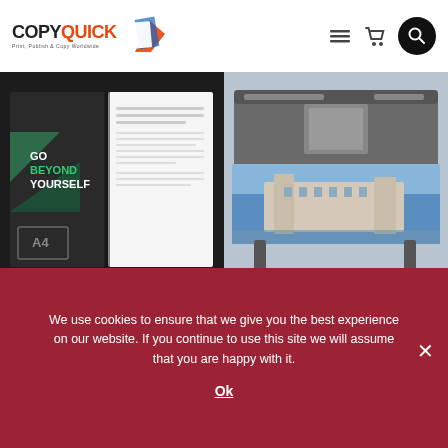[Figure (logo): CopyQuick logo with stylized document/paper icon in orange and blue tones, with tagline text below]
[Figure (illustration): Navigation icons: hamburger menu, shopping cart, and dark circle search button]
[Figure (photo): Left half: Open booklet showing 'GO BEYOND YOURSELF' text on dark cover with green geometric design, A4 size indicator. Right half: Large format printer with a photo of a French chateau being printed.]
A4 Booklets
[Figure (illustration): Two paper/material swatches shown as circles - one warm cream/ivory tone and one white/silver tone]
We use cookies to ensure that we give you the best experience on our website. If you continue to use this site we will assume that you are happy with it.
Ok